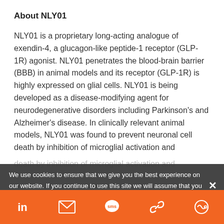About NLY01
NLY01 is a proprietary long-acting analogue of exendin-4, a glucagon-like peptide-1 receptor (GLP-1R) agonist. NLY01 penetrates the blood-brain barrier (BBB) in animal models and its receptor (GLP-1R) is highly expressed on glial cells. NLY01 is being developed as a disease-modifying agent for neurodegenerative disorders including Parkinson's and Alzheimer's disease. In clinically relevant animal models, NLY01 was found to prevent neuronal cell death by inhibition of microglial activation and
We use cookies to ensure that we give you the best experience on our website. If you continue to use this site we will assume that you are happy with it.
with NLY01 slowed disease progression, improved
[LinkedIn] [Email] [SMS] [Link] [Other]